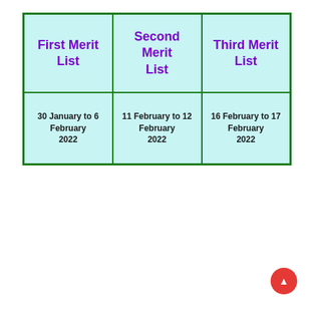| First Merit List | Second Merit List | Third Merit List |
| --- | --- | --- |
| 30 January to 6 February 2022 | 11 February to 12 February 2022 | 16 February to 17 February 2022 |